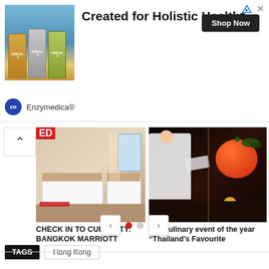[Figure (other): Advertisement banner for Enzymedica featuring supplement bottles with text 'Created for Holistic Health*' and a 'Shop Now' button]
[Figure (photo): Hotel room photo for Bangkok Marriott article, showing beds and interior]
CHECK IN TO CURIOSITY: BANGKOK MARRIOTT
[Figure (photo): Culinary photo showing a chef and a large orange/red tomato with garnishes for 'The culinary event of the year Thailand's Favourite' article]
The culinary event of the year "Thailand’s Favourite
TAGS  Hong Kong